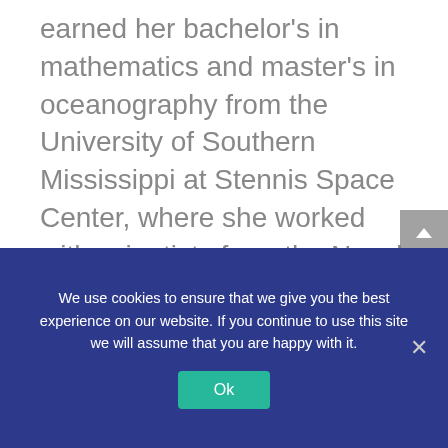earned her bachelor's in mathematics and master's in oceanography from the University of Southern Mississippi at Stennis Space Center, where she worked with scientists from the Naval Research Laboratory. As an employee of URI, she was a Research Scientist and continued her studies in physical oceanography. After earning her doctorate at URI GSO, Baker-Yeboah did her postdoctoral training at MIT, became a Visiting Professor at Lesley University and then at Worcester Polytechnic Institute. In 2015 Baker-Yeboah joined NOAA and now...
We use cookies to ensure that we give you the best experience on our website. If you continue to use this site we will assume that you are happy with it.